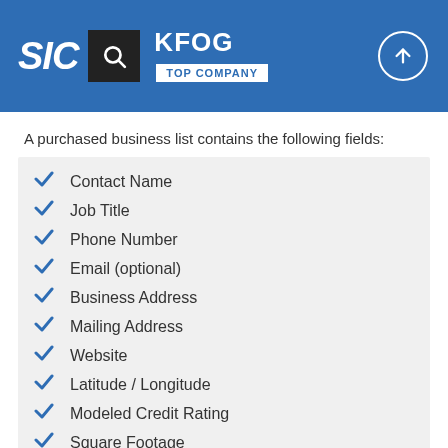SIC | KFOG | TOP COMPANY
A purchased business list contains the following fields:
Contact Name
Job Title
Phone Number
Email (optional)
Business Address
Mailing Address
Website
Latitude / Longitude
Modeled Credit Rating
Square Footage
Public / Private
Location Type*